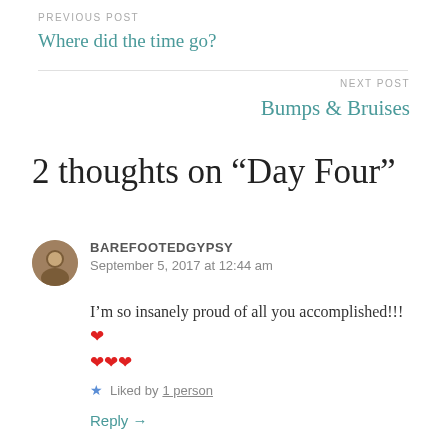PREVIOUS POST
Where did the time go?
NEXT POST
Bumps & Bruises
2 thoughts on “Day Four”
BAREFOOTEDGYPSY
September 5, 2017 at 12:44 am
I’m so insanely proud of all you accomplished!!!❤️❤️❤️❤️
Liked by 1 person
Reply →